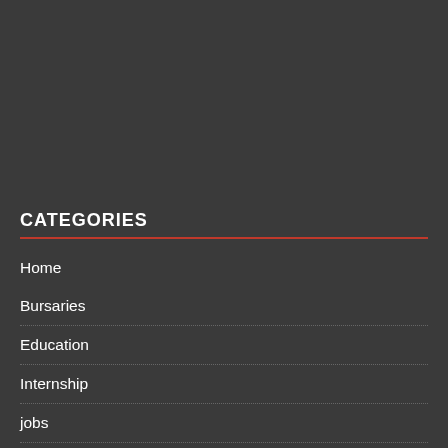CATEGORIES
Home
Bursaries
Education
Internship
jobs
General Jobs
Graduate Jobs
Learnership